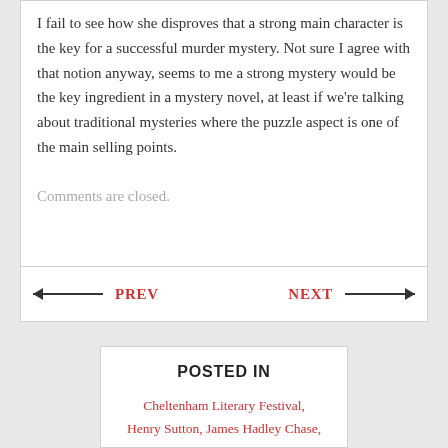I fail to see how she disproves that a strong main character is the key for a successful murder mystery. Not sure I agree with that notion anyway, seems to me a strong mystery would be the key ingredient in a mystery novel, at least if we're talking about traditional mysteries where the puzzle aspect is one of the main selling points.
Comments are closed.
PREV
NEXT
POSTED IN
Cheltenham Literary Festival, Henry Sutton, James Hadley Chase,